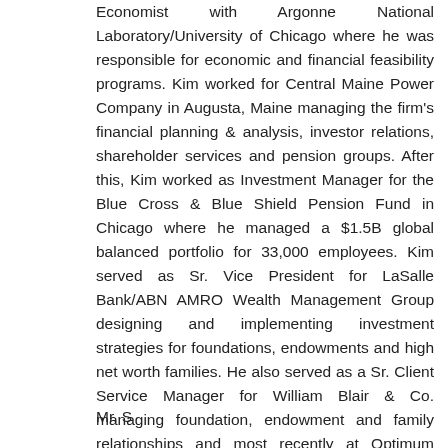Economist with Argonne National Laboratory/University of Chicago where he was responsible for economic and financial feasibility programs. Kim worked for Central Maine Power Company in Augusta, Maine managing the firm's financial planning & analysis, investor relations, shareholder services and pension groups. After this, Kim worked as Investment Manager for the Blue Cross & Blue Shield Pension Fund in Chicago where he managed a $1.5B global balanced portfolio for 33,000 employees. Kim served as Sr. Vice President for LaSalle Bank/ABN AMRO Wealth Management Group designing and implementing investment strategies for foundations, endowments and high net worth families. He also served as a Sr. Client Service Manager for William Blair & Co. managing foundation, endowment and family relationships and most recently at Optimum Investment Advisors as Managing Director of Wealth Management.
Mr. S... his BA in Economics f...